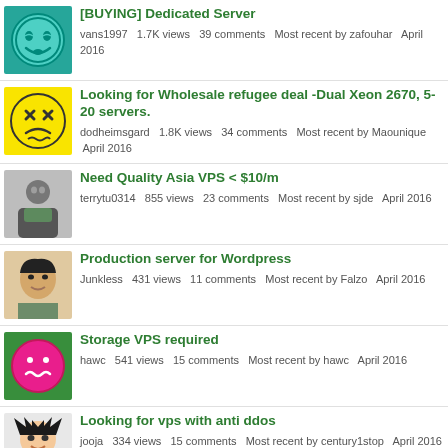[BUYING] Dedicated Server
vans1997   1.7K views   39 comments   Most recent by zafouhar   April 2016
Looking for Wholesale refugee deal -Dual Xeon 2670, 5-20 servers.
dodheimsgard   1.8K views   34 comments   Most recent by Maounique   April 2016
Need Quality Asia VPS &lt; $10/m
terrytu0314   855 views   23 comments   Most recent by sjde   April 2016
Production server for Wordpress
Junkless   431 views   11 comments   Most recent by Falzo   April 2016
Storage VPS required
hawc   541 views   15 comments   Most recent by hawc   April 2016
Looking for vps with anti ddos
jooja   334 views   15 comments   Most recent by century1stop   April 2016
[WTB] Ded for Shared hosting
alimosavi   218 views   5 comments   Most recent by foxez   April 2016
Looking OVH VPS alternatives in Europe